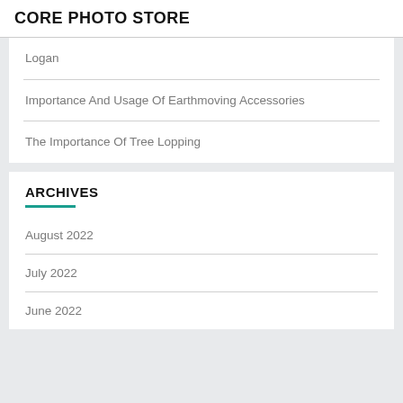CORE PHOTO STORE
Logan
Importance And Usage Of Earthmoving Accessories
The Importance Of Tree Lopping
ARCHIVES
August 2022
July 2022
June 2022